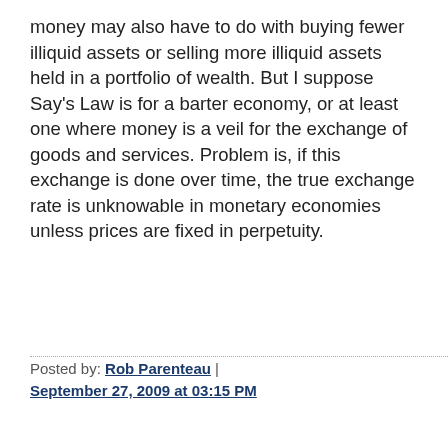money may also have to do with buying fewer illiquid assets or selling more illiquid assets held in a portfolio of wealth. But I suppose Say's Law is for a barter economy, or at least one where money is a veil for the exchange of goods and services. Problem is, if this exchange is done over time, the true exchange rate is unknowable in monetary economies unless prices are fixed in perpetuity.
Posted by: Rob Parenteau | September 27, 2009 at 03:15 PM